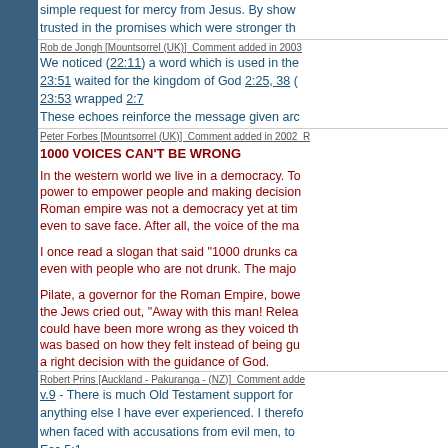simple request for mercy from Jesus. By show... trusted in the promises which were stronger th...
Rob de Jongh [Mountsorrel (UK)]  Comment added in 2003
We noticed (22:11) a word which is used in the... 23:51 waited for the kingdom of God 2:25, 38 (... 23:53 wrapped 2:7
These echoes reinforce the message given arc...
Peter Forbes [Mountsorrel (UK)]  Comment added in 2002  R...
1000 VOICES CAN'T BE WRONG
In the western world we live in a democracy. To... power to empower people and making decision... Roman empire was not a democracy yet at tim... even to save face. After all, the voice of the ma...
I once read a slogan that said "1000 drunks ca... even with people who are not drunk. The majo...
Pilate, a governor for the Roman Empire, bowe... the Jews cried out, "Away with this man! Relea... could have been more wrong as they voiced th... was based on how they felt instead of being gu... a right decision with the guidance of God.
Robert Prins [Auckland - Pakuranga - (NZ)]  Comment adde...
v.9 - There is much Old Testament support for... anything else I have ever experienced. I therefo... when faced with accusations from evil men, to... Ecc.5:1
Peter  [UK]  Comment added in 2001  Reply to Peter
23:30 and shall say... fall on us Hosea 10:8...